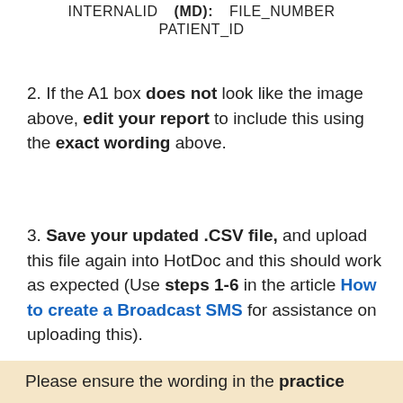[Figure (screenshot): Spreadsheet header row showing column labels: INTERNALID, (MD):, FILE_NUMBER, PATIENT_ID]
If the A1 box does not look like the image above, edit your report to include this using the exact wording above.
Save your updated .CSV file, and upload this file again into HotDoc and this should work as expected (Use steps 1-6 in the article How to create a Broadcast SMS for assistance on uploading this).
Please ensure the wording in the practice